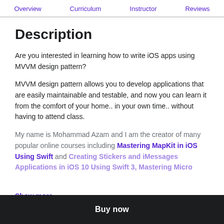Overview  Curriculum  Instructor  Reviews
Description
Are you interested in learning how to write iOS apps using MVVM design pattern?
MVVM design pattern allows you to develop applications that are easily maintainable and testable, and now you can learn it from the comfort of your home.. in your own time.. without having to attend class.
My name is Mohammad Azam and I am the creator of many popular online courses including Mastering MapKit in iOS Using Swift and Creating Stickers and iMessages Applications in iOS 10 Using Swift 3, Mastering Micro
Show more ∨
Buy now